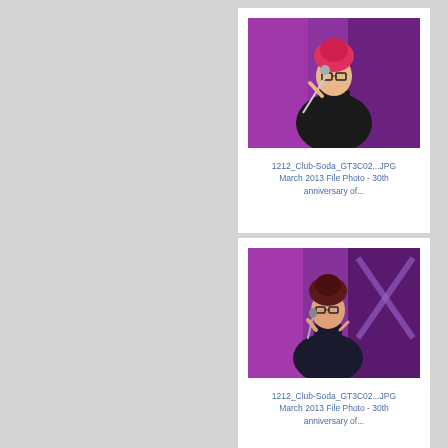[Figure (photo): Woman with pink/red updo hair and glasses, wearing a black sleeveless turtleneck dress, holding a microphone stand on a purple-lit stage]
1212_Club-Soda_GT3C02...JPG
March 2013 File Photo - 30th anniversary of...
[Figure (photo): Woman with dark updo hair and glasses, wearing a black sleeveless dress, holding a microphone on a purple-lit stage with geometric lighting]
1212_Club-Soda_GT3C02...JPG
March 2013 File Photo - 30th anniversary of...